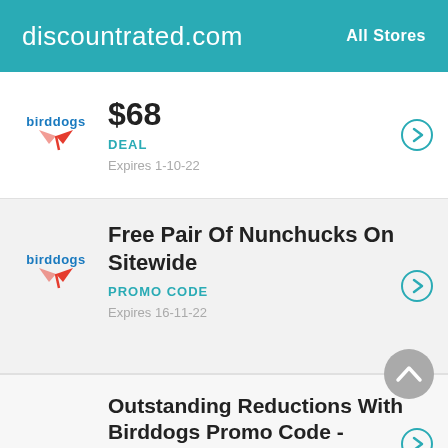discountrated.com | All Stores
$68 | DEAL | Expires 1-10-22
Free Pair Of Nunchucks On Sitewide | PROMO CODE | Expires 16-11-22
Outstanding Reductions With Birddogs Promo Code - CHARGEDUP920